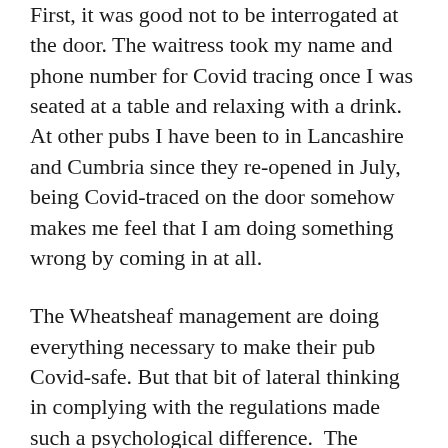First, it was good not to be interrogated at the door. The waitress took my name and phone number for Covid tracing once I was seated at a table and relaxing with a drink. At other pubs I have been to in Lancashire and Cumbria since they re-opened in July, being Covid-traced on the door somehow makes me feel that I am doing something wrong by coming in at all.
The Wheatsheaf management are doing everything necessary to make their pub Covid-safe. But that bit of lateral thinking in complying with the regulations made such a psychological difference.  The present restrictions on personal liberty imposed by the Government are bound to affect individuals differently but for what it is worth that was my subjective experience.
Despite the demoralising effect, I comply with